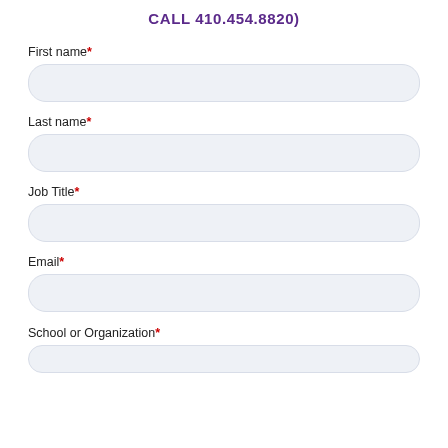CALL 410.454.8820)
First name*
Last name*
Job Title*
Email*
School or Organization*